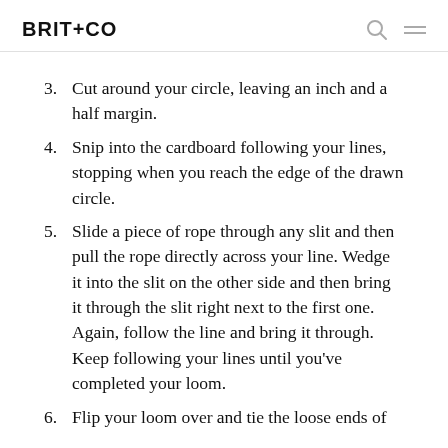BRIT+CO
3. Cut around your circle, leaving an inch and a half margin.
4. Snip into the cardboard following your lines, stopping when you reach the edge of the drawn circle.
5. Slide a piece of rope through any slit and then pull the rope directly across your line. Wedge it into the slit on the other side and then bring it through the slit right next to the first one. Again, follow the line and bring it through. Keep following your lines until you've completed your loom.
6. Flip your loom over and tie the loose ends of